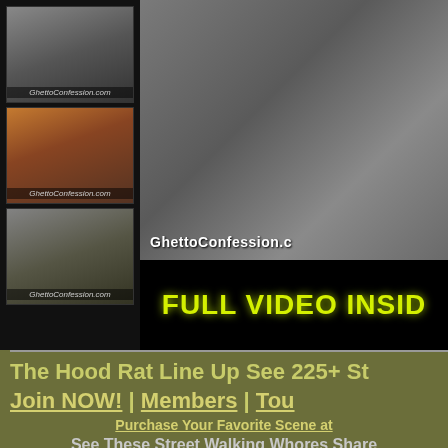[Figure (screenshot): Website advertisement with thumbnail images on the left showing GhettoConfession.com watermark, a large main image on the right, and a 'FULL VIDEO INSIDE' bar]
The Hood Rat Line Up See 225+ St
Join NOW! | Members | Tou
Purchase Your Favorite Scene at
See These Street Walking Whores Share Life on the Streets: Click a Hood Rat to s